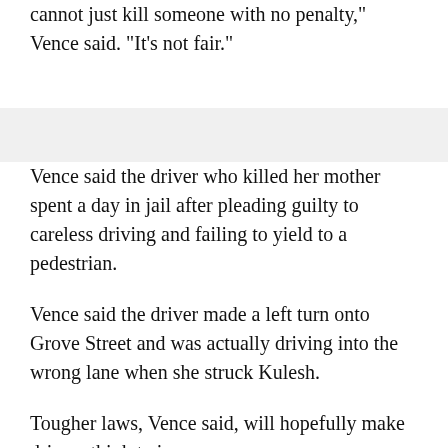cannot just kill someone with no penalty," Vence said. "It's not fair."
Vence said the driver who killed her mother spent a day in jail after pleading guilty to careless driving and failing to yield to a pedestrian.
Vence said the driver made a left turn onto Grove Street and was actually driving into the wrong lane when she struck Kulesh.
Tougher laws, Vence said, will hopefully make drivers think twice.
"You are behind the wheel of a 3,000-pound or so